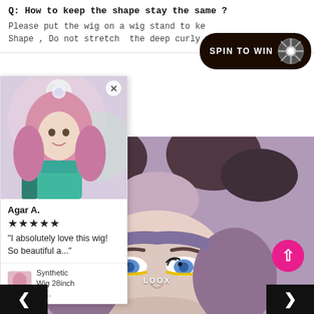Q: How to keep the shape stay the same ?
Please put the wig on a wig stand to ke... Shape , Do not stretch the deep curly w...
[Figure (screenshot): Spin to Win promotional button with dark background and wheel icon]
[Figure (photo): Review card popup showing a person with pink hair and teal outfit, reviewer Agar A. with 5 stars, quote 'I absolutely love this wig! So beautiful a...' and product thumbnail for Synthetic Wig 28inch W_]
[Figure (photo): Main product photo showing close-up of a person with purple/mauve styled hair in space buns and blue eyes with yellow eye makeup]
LOOX
[Figure (screenshot): Navigation left arrow button (dark background)]
[Figure (screenshot): Navigation right arrow button (dark background)]
[Figure (screenshot): Scroll to top pink circle button with upward arrow]